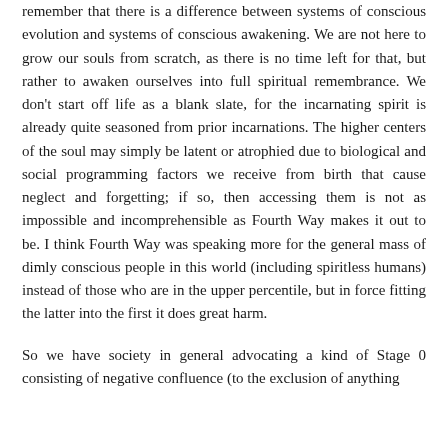remember that there is a difference between systems of conscious evolution and systems of conscious awakening. We are not here to grow our souls from scratch, as there is no time left for that, but rather to awaken ourselves into full spiritual remembrance. We don't start off life as a blank slate, for the incarnating spirit is already quite seasoned from prior incarnations. The higher centers of the soul may simply be latent or atrophied due to biological and social programming factors we receive from birth that cause neglect and forgetting; if so, then accessing them is not as impossible and incomprehensible as Fourth Way makes it out to be. I think Fourth Way was speaking more for the general mass of dimly conscious people in this world (including spiritless humans) instead of those who are in the upper percentile, but in force fitting the latter into the first it does great harm.
So we have society in general advocating a kind of Stage 0 consisting of negative confluence (to the exclusion of anything